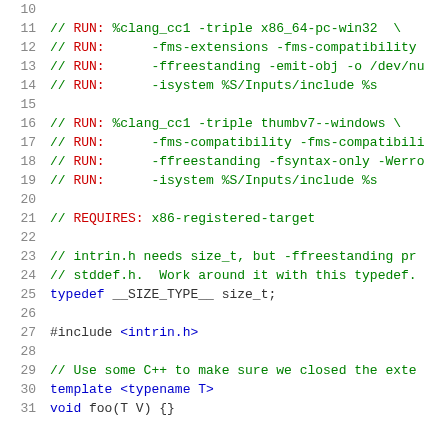Code listing lines 10-31: C++ source file with clang test run directives, REQUIRES directive, typedef, #include, and template function definition.